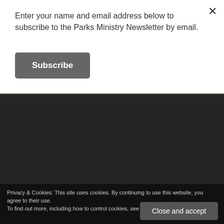Enter your name and email address below to subscribe to the Parks Ministry Newsletter by email.
Subscribe
FOLLOW BLOG VIA EMAIL
Enter your email address to follow this blog and receive notifications of new posts by email.
Enter your email address
Privacy & Cookies: This site uses cookies. By continuing to use this website, you agree to their use.
To find out more, including how to control cookies, see here: Our Cookie Policy
Close and accept